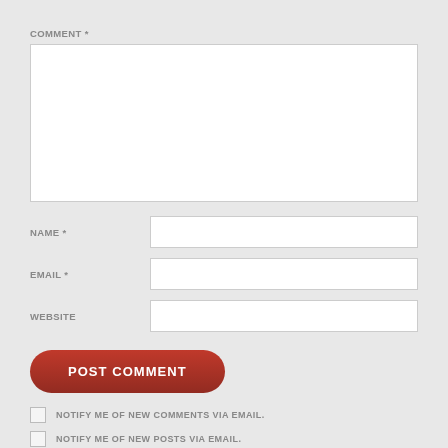COMMENT *
[Figure (screenshot): Large blank white textarea for comment input]
NAME *
[Figure (screenshot): Text input field for name]
EMAIL *
[Figure (screenshot): Text input field for email]
WEBSITE
[Figure (screenshot): Text input field for website]
[Figure (screenshot): POST COMMENT button, red rounded rectangle]
NOTIFY ME OF NEW COMMENTS VIA EMAIL.
NOTIFY ME OF NEW POSTS VIA EMAIL.